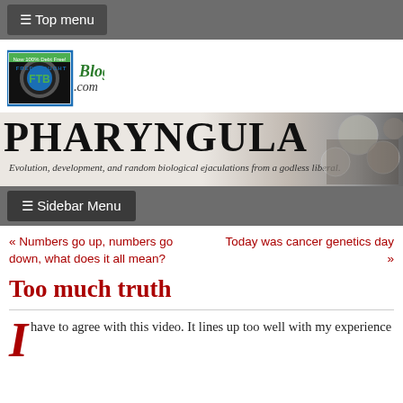☰ Top menu
[Figure (logo): FreeThought Blogs logo with FTB emblem and .com text]
[Figure (illustration): Pharyngula blog banner with title 'PHARYNGULA' and subtitle 'Evolution, development, and random biological ejaculations from a godless liberal.' with scientific imagery on right]
☰ Sidebar Menu
« Numbers go up, numbers go down, what does it all mean?
Today was cancer genetics day »
Too much truth
I have to agree with this video. It lines up too well with my experience